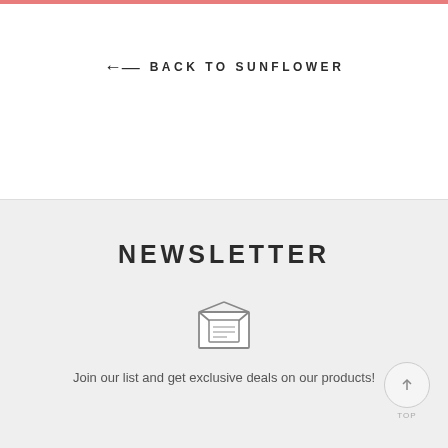← BACK TO SUNFLOWER
NEWSLETTER
[Figure (illustration): Envelope icon with letter inside, open flap with lines indicating a letter]
Join our list and get exclusive deals on our products!